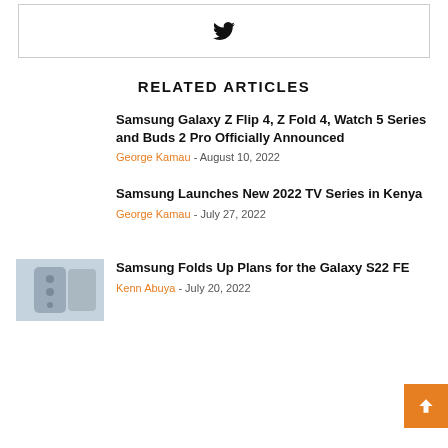[Figure (logo): Twitter bird icon inside a bordered box]
RELATED ARTICLES
Samsung Galaxy Z Flip 4, Z Fold 4, Watch 5 Series and Buds 2 Pro Officially Announced
George Kamau - August 10, 2022
Samsung Launches New 2022 TV Series in Kenya
George Kamau - July 27, 2022
[Figure (photo): Samsung Galaxy S22 FE phone image]
Samsung Folds Up Plans for the Galaxy S22 FE
Kenn Abuya - July 20, 2022